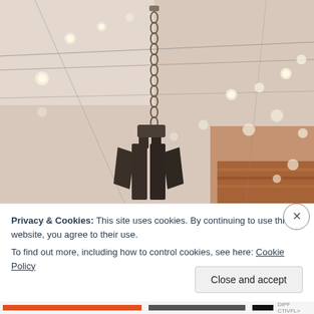[Figure (photo): Indoor ceiling photo showing string lights (Edison bulbs) strung across the ceiling of what appears to be a venue or gallery. A dark metal sculptural object or chandelier is suspended from the ceiling via a chain and hook. In the background there is a wooden floor visible and white walls with track lighting.]
Privacy & Cookies: This site uses cookies. By continuing to use this website, you agree to their use.
To find out more, including how to control cookies, see here: Cookie Policy
Close and accept